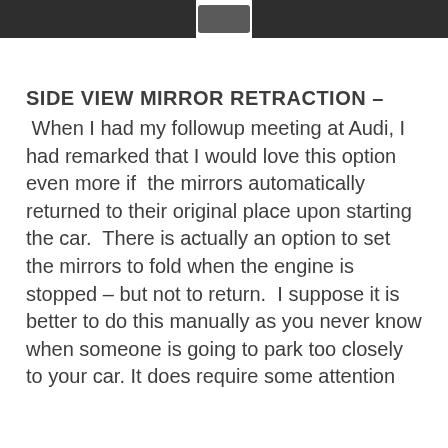[Figure (photo): Dark photograph strip showing part of a car interior or exterior, with a lighter rectangular element in the center]
SIDE VIEW MIRROR RETRACTION –
When I had my followup meeting at Audi, I had remarked that I would love this option even more if  the mirrors automatically returned to their original place upon starting the car.  There is actually an option to set the mirrors to fold when the engine is stopped – but not to return.  I suppose it is better to do this manually as you never know when someone is going to park too closely to your car. It does require some attention